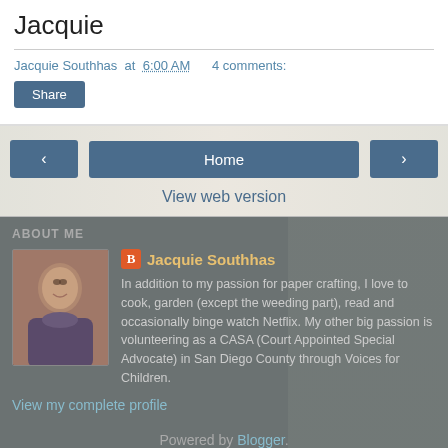Jacquie
Jacquie Southhas at 6:00 AM    4 comments:
Share
‹   Home   ›
View web version
ABOUT ME
Jacquie Southhas
In addition to my passion for paper crafting, I love to cook, garden (except the weeding part), read and occasionally binge watch Netflix. My other big passion is volunteering as a CASA (Court Appointed Special Advocate) in San Diego County through Voices for Children.
View my complete profile
Powered by Blogger.